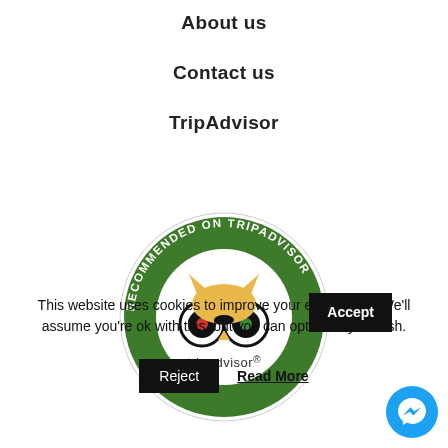About us
Contact us
TripAdvisor
[Figure (logo): TripAdvisor 'Recommended on TripAdvisor' badge — circular green border with white text 'RECOMMENDED ON TRIPADVISOR', owl logo in center, 'tripadvisor' text below owl]
This website uses cookies to improve your experience. We'll assume you're ok with this, but you can opt-out if you wish.
Accept
Reject
Read More